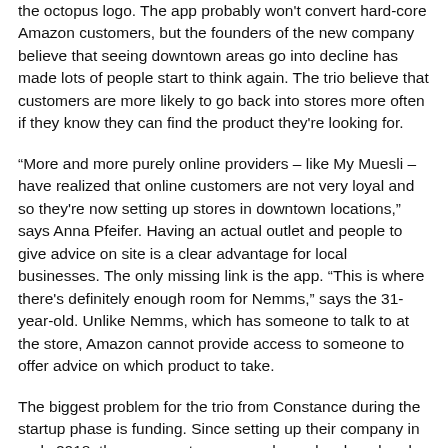the octopus logo. The app probably won't convert hard-core Amazon customers, but the founders of the new company believe that seeing downtown areas go into decline has made lots of people start to think again. The trio believe that customers are more likely to go back into stores more often if they know they can find the product they're looking for.
“More and more purely online providers – like My Muesli – have realized that online customers are not very loyal and so they're now setting up stores in downtown locations,” says Anna Pfeifer. Having an actual outlet and people to give advice on site is a clear advantage for local businesses. The only missing link is the app. “This is where there's definitely enough room for Nemms,” says the 31-year-old. Unlike Nemms, which has someone to talk to at the store, Amazon cannot provide access to someone to offer advice on which product to take.
The biggest problem for the trio from Constance during the startup phase is funding. Since setting up their company in early 2018, the young entrepreneurs have developed and continuously optimized the